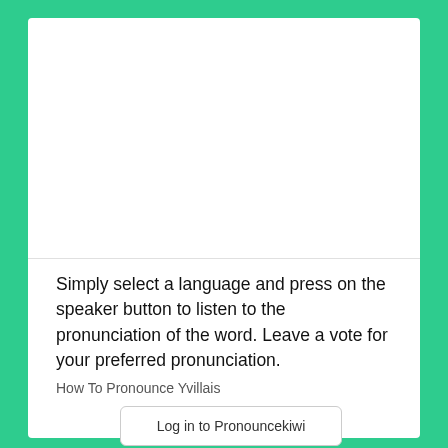Simply select a language and press on the speaker button to listen to the pronunciation of the word. Leave a vote for your preferred pronunciation.
How To Pronounce Yvillais
Log in to Pronouncekiwi